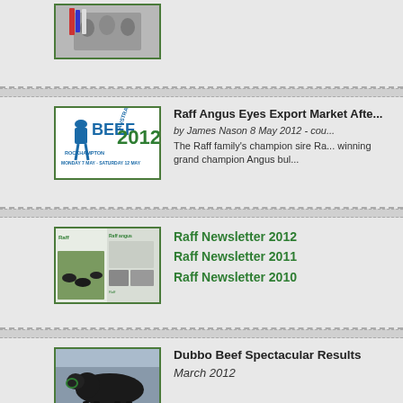[Figure (photo): Photo of people at a show with ribbons, top section]
[Figure (logo): Beef Australia 2012 logo - Monday 7 May to Saturday 12 May]
Raff Angus Eyes Export Market After...
by James Nason 8 May 2012 - cou...
The Raff family's champion sire Ra... winning grand champion Angus bul...
[Figure (photo): Raff Newsletter composite image showing cattle and newsletter pages]
Raff Newsletter 2012
Raff Newsletter 2011
Raff Newsletter 2010
[Figure (photo): Black Angus bull photo for Dubbo Beef Spectacular Results]
Dubbo Beef Spectacular Results
March 2012